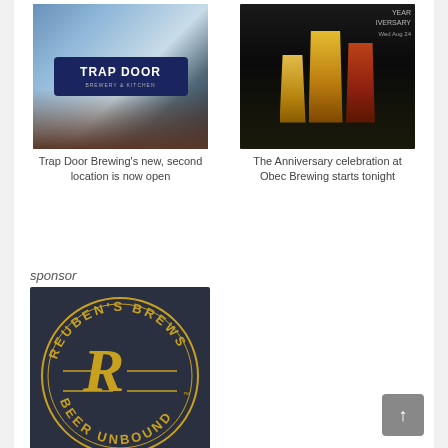[Figure (photo): Photo of Trap Door Brewing sign on building exterior against a blue sky with clouds]
Trap Door Brewing's new, second location is now open
[Figure (photo): Photo of beer glasses at Obec Brewing anniversary celebration, Wed Aug 24]
The Anniversary celebration at Obec Brewing starts tonight
sponsor
[Figure (logo): Reuben's Brews Beer Unbound logo — circular gold text on dark navy background with stylized R]